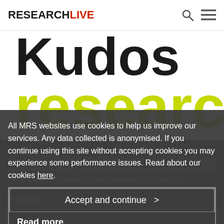RESEARCHLIVE
[Figure (screenshot): Kudos research brand hero image with large bold black 'Kudos' text and lime green 'research' text below]
All MRS websites use cookies to help us improve our services. Any data collected is anonymised. If you continue using this site without accepting cookies you may experience some performance issues. Read about our cookies here.
Kudos Research are leading providers of premium quality UK and International Telephone Data-Collection. Specialising in hard to reach B2B and Consumer audiences, we achieve excellent response rates and provide robust, actionable, verbatim-rich data. Methodologies include CATI, ...
Read more
Accept and continue
Cookie Settings
RELATED ARTICLES